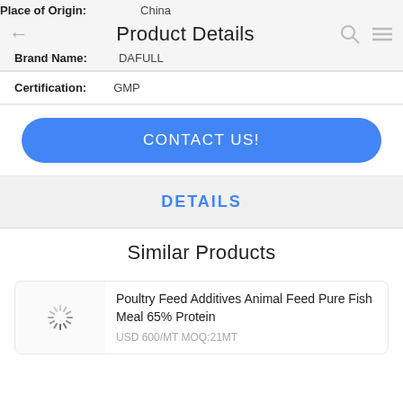Product Details
| Field | Value |
| --- | --- |
| Place of Origin: | China |
| Brand Name: | DAFULL |
| Certification: | GMP |
CONTACT US!
DETAILS
Similar Products
Poultry Feed Additives Animal Feed Pure Fish Meal 65% Protein
USD 600/MT MOQ:21MT